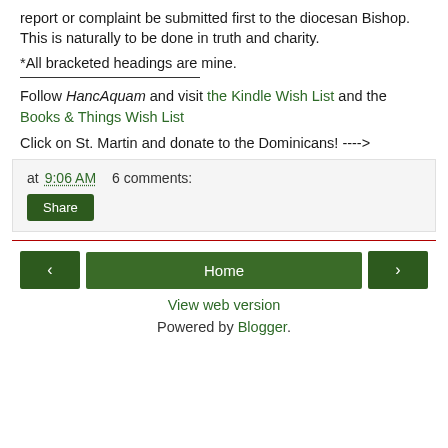report or complaint be submitted first to the diocesan Bishop. This is naturally to be done in truth and charity.
*All bracketed headings are mine.
Follow HancAquam and visit the Kindle Wish List and the Books & Things Wish List
Click on St. Martin and donate to the Dominicans! ----->
at 9:06 AM   6 comments:
Share
< Home > View web version Powered by Blogger.